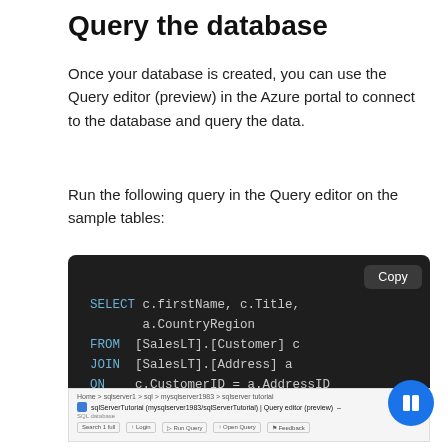Query the database
Once your database is created, you can use the Query editor (preview) in the Azure portal to connect to the database and query the data.
Run the following query in the Query editor on the sample tables:
[Figure (screenshot): Dark-themed code editor block showing a SQL SELECT query: SELECT c.firstName, c.Title, a.CountryRegion FROM [SalesLT].[Customer] c JOIN [SalesLT].[Address] a ON c.CustomerID = a.AddressID, with a Copy button in the top-right corner.]
[Figure (screenshot): Azure portal screenshot showing Query editor (preview) for sqlServerTutorial (mysqlserver1983/sqlServerTutorial) with navigation breadcrumb and toolbar.]